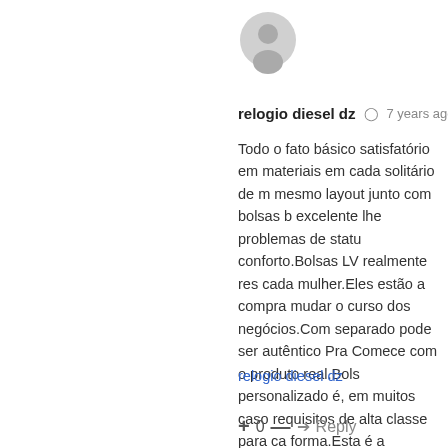[Figure (illustration): User avatar circle icon in gray]
relogio diesel dz  ⏱ 7 years ago
Todo o fato básico satisfatório em materiais em cada solitário de mesmo layout junto com bolsas bom excelente lhe problemas de status conforto.Bolsas LV realmente res cada mulher.Eles estão a compra mudar o curso dos negócios.Com separado pode ser autêntico Pra Comece com o produto real.Bols personalizado é, em muitos caso requisitos de alta classe para ca forma.Esta é a declaração que v função de tapete vermelho cor d
relogio diesel dz
+ 0 — → Reply